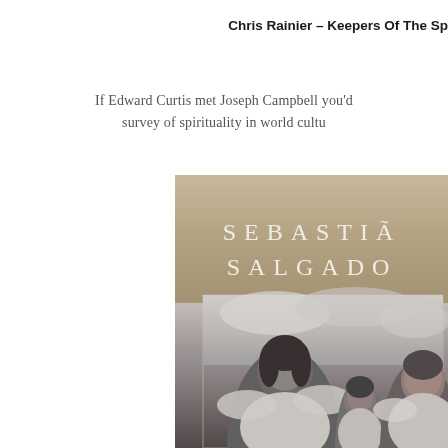Chris Rainier – Keepers Of The Sp
If Edward Curtis met Joseph Campbell you'd survey of spirituality in world cultu
[Figure (photo): Book cover of Sebastião Salgado photography book showing author name 'SEBASTIÃ SALGADO' in serif white letters on sepia background, with black and white photograph below showing three young girls dressed in white angel costumes with feather wings against a cloudy sky]